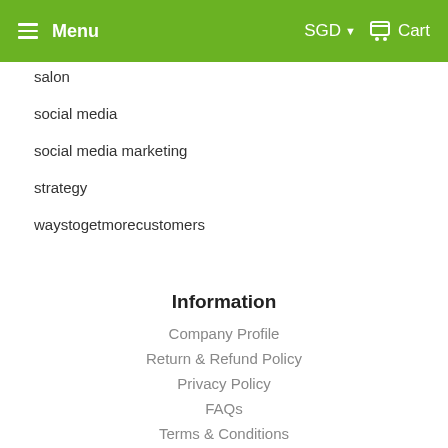Menu  SGD  Cart
salon
social media
social media marketing
strategy
waystogetmorecustomers
Information
Company Profile
Return & Refund Policy
Privacy Policy
FAQs
Terms & Conditions